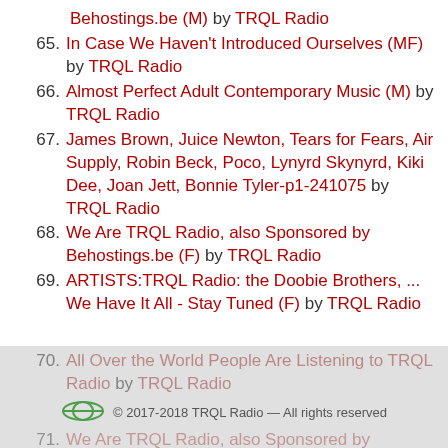Behostings.be (M) by TRQL Radio
65. In Case We Haven't Introduced Ourselves (MF) by TRQL Radio
66. Almost Perfect Adult Contemporary Music (M) by TRQL Radio
67. James Brown, Juice Newton, Tears for Fears, Air Supply, Robin Beck, Poco, Lynyrd Skynyrd, Kiki Dee, Joan Jett, Bonnie Tyler-p1-241075 by TRQL Radio
68. We Are TRQL Radio, also Sponsored by Behostings.be (F) by TRQL Radio
69. ARTISTS:TRQL Radio: the Doobie Brothers, ... We Have It All - Stay Tuned (F) by TRQL Radio
70. All Over the World People Are Listening to TRQL Radio by TRQL Radio
71. We Are TRQL Radio, also Sponsored by
© 2017-2018 TRQL Radio — All rights reserved